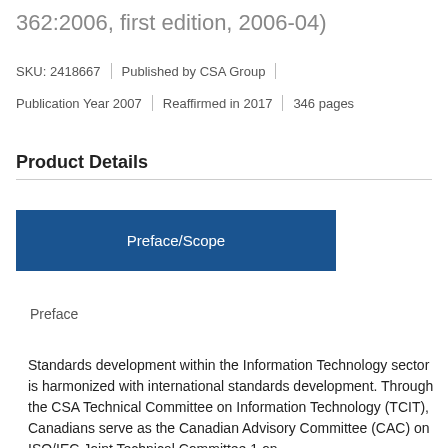362:2006, first edition, 2006-04)
SKU: 2418667 | Published by CSA Group
Publication Year 2007 | Reaffirmed in 2017 | 346 pages
Product Details
[Figure (other): Blue button labeled Preface/Scope]
Preface
Standards development within the Information Technology sector is harmonized with international standards development. Through the CSA Technical Committee on Information Technology (TCIT), Canadians serve as the Canadian Advisory Committee (CAC) on ISO/IEC Joint Technical Committee 1 on